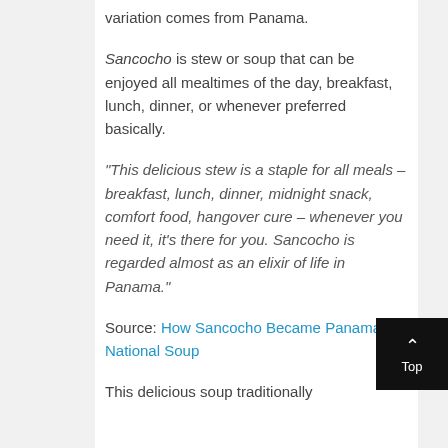variation comes from Panama.
Sancocho is stew or soup that can be enjoyed all mealtimes of the day, breakfast, lunch, dinner, or whenever preferred basically.
“This delicious stew is a staple for all meals – breakfast, lunch, dinner, midnight snack, comfort food, hangover cure – whenever you need it, it’s there for you. Sancocho is regarded almost as an elixir of life in Panama.”
Source: How Sancocho Became Panama’s National Soup
This delicious soup traditionally